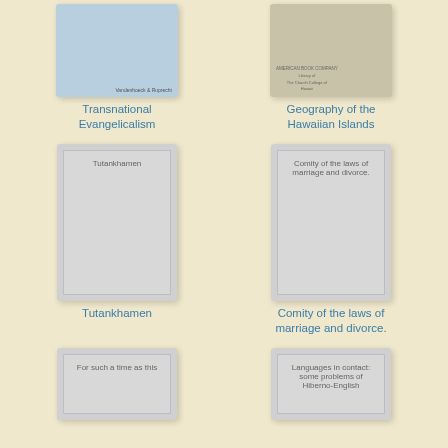[Figure (illustration): Book cover for Transnational Evangelicalism, light blue cover with Vandenhoeck & Ruprecht publisher text]
Transnational Evangelicalism
[Figure (illustration): Book cover for Geography of the Hawaiian Islands, tan/beige cover with American Book Company and library stamp text]
Geography of the Hawaiian Islands
[Figure (illustration): Book cover placeholder for Tutankhamen, gray cover with inner border]
Tutankhamen
[Figure (illustration): Book cover placeholder for Comity of the laws of marriage and divorce, gray cover with inner border]
Comity of the laws of marriage and divorce.
[Figure (illustration): Book cover placeholder for For such a time as this, gray cover with inner border]
[Figure (illustration): Book cover placeholder for Languages in contact: some problems of Hiberno-English, gray cover with inner border]
Languages in contact: some problems of Hiberno-English